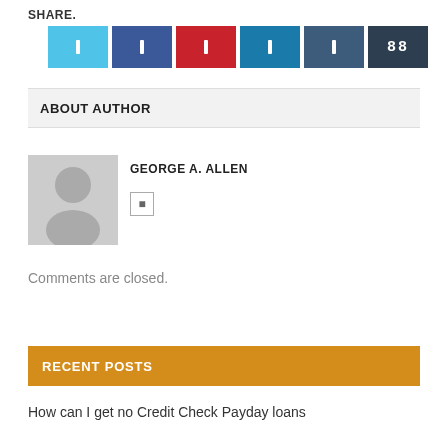SHARE.
[Figure (infographic): Six social share buttons: Twitter (light blue), Facebook (dark blue), Pinterest (red), LinkedIn (teal), Tumblr (dark slate blue), and a count button (dark navy) showing '88']
ABOUT AUTHOR
[Figure (photo): Generic grey avatar silhouette placeholder image]
GEORGE A. ALLEN
[social icon]
Comments are closed.
RECENT POSTS
How can I get no Credit Check Payday loans